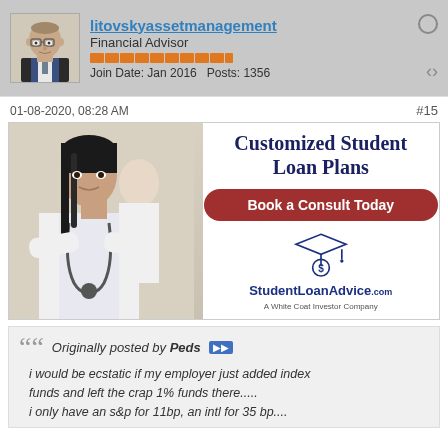litovskyassetmanagement | Financial Advisor | Join Date: Jan 2016 | Posts: 1356
01-08-2020, 08:28 AM  #15
[Figure (illustration): Advertisement banner for StudentLoanAdvice.com showing a woman in medical attire with text 'Customized Student Loan Plans', a red 'Book a Consult Today' button, and the StudentLoanAdvice.com logo with tagline 'A White Coat Investor Company']
Originally posted by Peds
i would be ecstatic if my employer just added index funds and left the crap 1% funds there.....
i only have an s&p for 11bp, an intl for 35 bp....